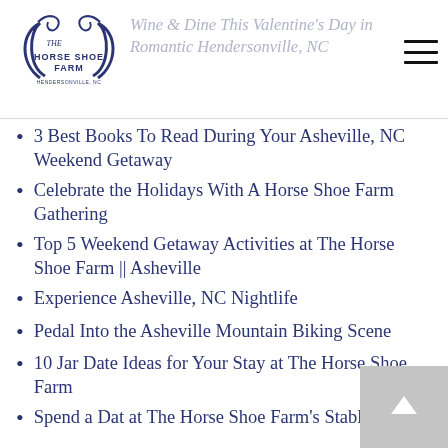THE HORSE SHOE FARM | Wine & Dine This Valentine's Day in Romantic Hendersonville, NC
3 Best Books To Read During Your Asheville, NC Weekend Getaway
Celebrate the Holidays With A Horse Shoe Farm Gathering
Top 5 Weekend Getaway Activities at The Horse Shoe Farm || Asheville
Experience Asheville, NC Nightlife
Pedal Into the Asheville Mountain Biking Scene
10 Jar Date Ideas for Your Stay at The Horse Shoe Farm
Spend a Dat at The Horse Shoe Farm's Stable Spa